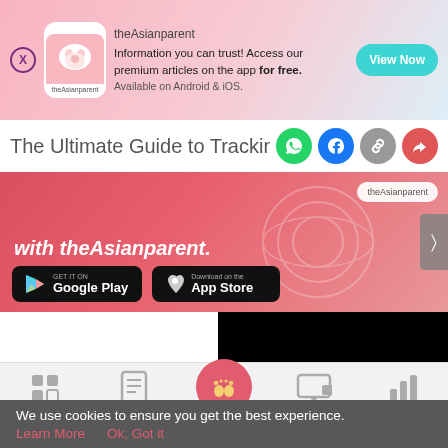[Figure (screenshot): theAsianparent app advertisement banner with logo, tagline 'Information you can trust! Access our premium articles on the app for free. Available on Android & iOS.' and a 'View Now' button]
The Ultimate Guide to Tracking Your ...
[Figure (screenshot): theAsianparent app promotional banner with italic text 'with theAsianparent.' and app store download buttons for Google Play and App Store, with a next arrow]
[Figure (screenshot): Black video player area]
[Figure (screenshot): Bottom navigation bar with icons for Tools, Articles, (baby footprints center active), Feed, Poll]
We use cookies to ensure you get the best experience.
Learn More   Ok, Got it